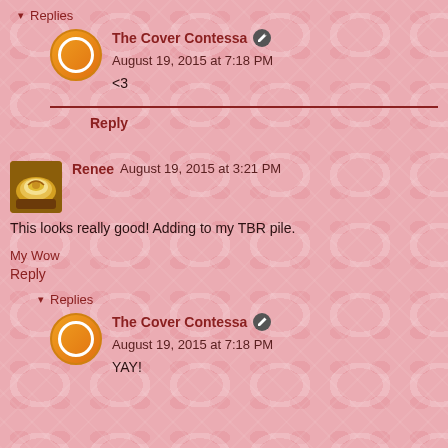▾ Replies
The Cover Contessa [edit icon] August 19, 2015 at 7:18 PM
<3
Reply
Renee  August 19, 2015 at 3:21 PM
This looks really good! Adding to my TBR pile.
My Wow
Reply
▾ Replies
The Cover Contessa [edit icon] August 19, 2015 at 7:18 PM
YAY!